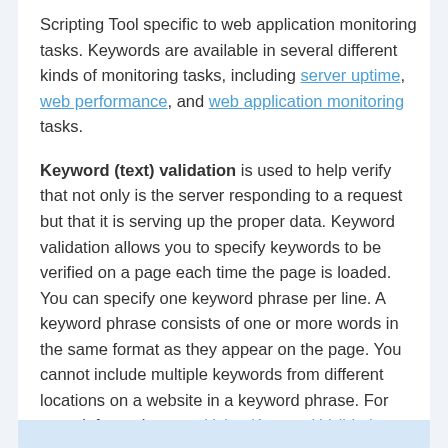Scripting Tool specific to web application monitoring tasks. Keywords are available in several different kinds of monitoring tasks, including server uptime, web performance, and web application monitoring tasks.
Keyword (text) validation is used to help verify that not only is the server responding to a request but that it is serving up the proper data. Keyword validation allows you to specify keywords to be verified on a page each time the page is loaded. You can specify one keyword phrase per line. A keyword phrase consists of one or more words in the same format as they appear on the page. You cannot include multiple keywords from different locations on a website in a keyword phrase. For more information, see Using Keyword Validation.